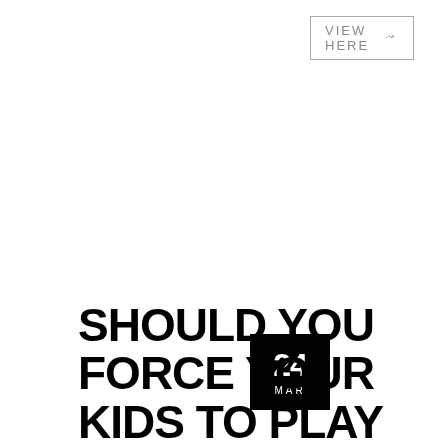[Figure (other): Button/link with border reading VIEW HERE with arrow icon]
[Figure (other): Black square date badge showing 24 MAR]
SHOULD YOU FORCE YOUR KIDS TO PLAY